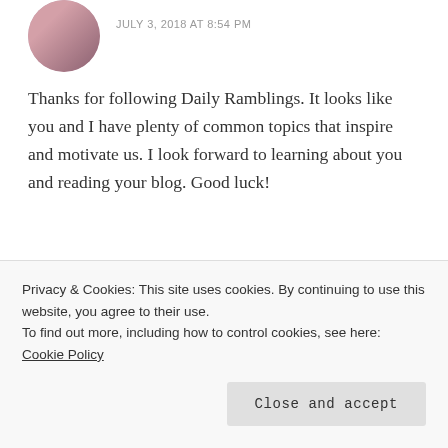JULY 3, 2018 AT 8:54 PM
Thanks for following Daily Ramblings. It looks like you and I have plenty of common topics that inspire and motivate us. I look forward to learning about you and reading your blog. Good luck!
Liked by 1 person
Reply
Privacy & Cookies: This site uses cookies. By continuing to use this website, you agree to their use.
To find out more, including how to control cookies, see here: Cookie Policy
Close and accept